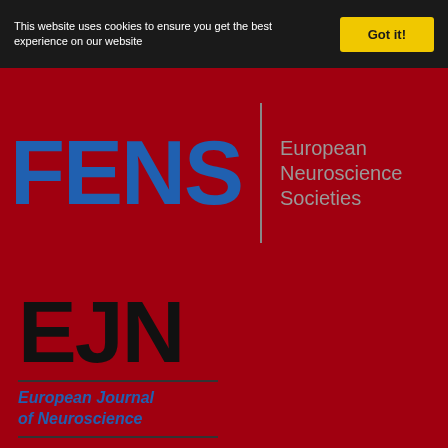This website uses cookies to ensure you get the best experience on our website
Got it!
[Figure (logo): FENS logo in blue large letters with vertical divider and 'European Neuroscience Societies' subtitle in grey on dark red background]
[Figure (logo): EJN logo in large black letters with horizontal rules and 'European Journal of Neuroscience' subtitle in blue italic on dark red background]
© 2021 Austrian Neuroscience Association (ANA) / Österreichische Gesellschaft für Neurowissenschaften (ÖGN)